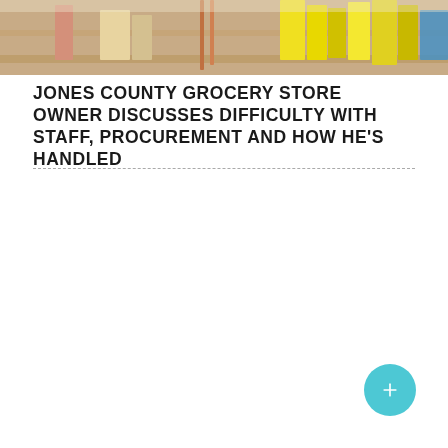[Figure (photo): Photo of a grocery store shelf or display area with colorful items including yellow/neon highlighted products and wooden/beige shelving elements]
JONES COUNTY GROCERY STORE OWNER DISCUSSES DIFFICULTY WITH STAFF, PROCUREMENT AND HOW HE’S HANDLED